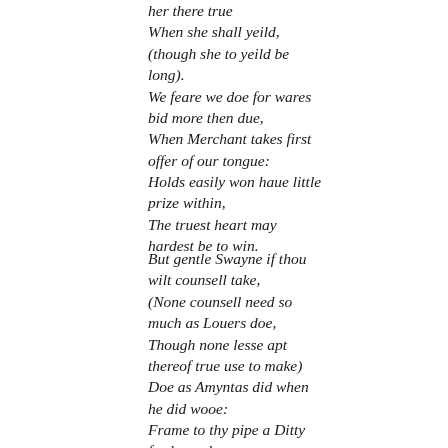her there true
When she shall yeild,
(though she to yeild be long).
We feare we doe for wares bid more then due,
When Merchant takes first offer of our tongue:
Holds easily won haue little prize within,
The truest heart may hardest be to win.

But gentle Swayne if thou wilt counsell take,
(None counsell need so much as Louers doe,
Though none lesse apt thereof true use to make)
Doe as Amyntas did when he did wooe:
Frame to thy pipe a Ditty for her sake,
And sing it in her eares, and praises too.
His song (if thou canst